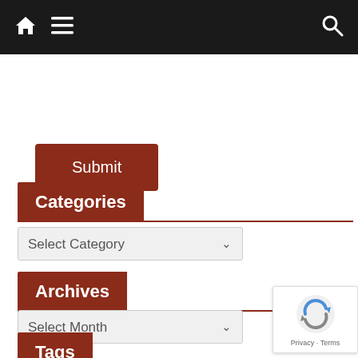Navigation bar with home icon, menu icon, and search icon
Submit
Categories
Select Category
Archives
Select Month
Tags
[Figure (other): reCAPTCHA widget with Privacy and Terms links]